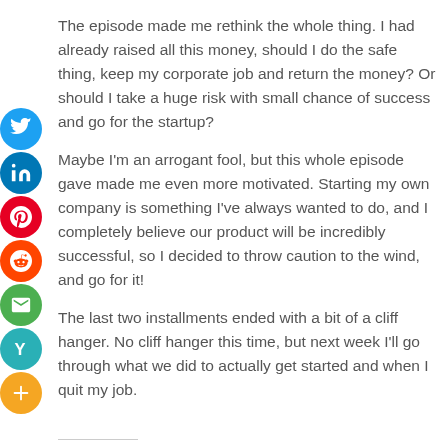The episode made me rethink the whole thing. I had already raised all this money, should I do the safe thing, keep my corporate job and return the money? Or should I take a huge risk with small chance of success and go for the startup?
Maybe I'm an arrogant fool, but this whole episode gave made me even more motivated. Starting my own company is something I've always wanted to do, and I completely believe our product will be incredibly successful, so I decided to throw caution to the wind, and go for it!
The last two installments ended with a bit of a cliff hanger. No cliff hanger this time, but next week I'll go through what we did to actually get started and when I quit my job.